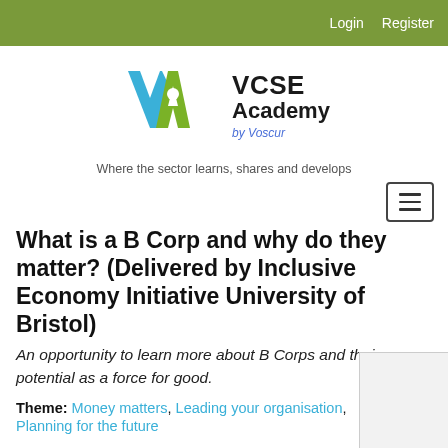Login   Register
[Figure (logo): VCSE Academy by Voscur logo with blue and green V-A letterform graphic]
Where the sector learns, shares and develops
What is a B Corp and why do they matter? (Delivered by Inclusive Economy Initiative University of Bristol)
An opportunity to learn more about B Corps and their potential as a force for good.
Theme: Money matters, Leading your organisation, Planning for the future